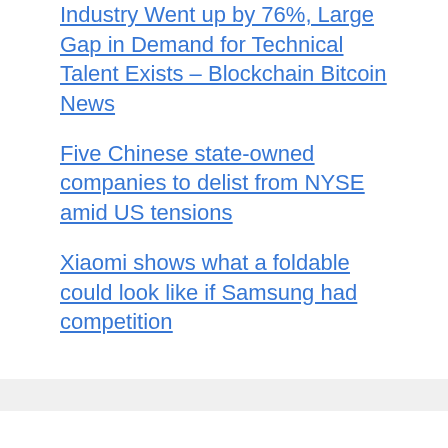Industry Went up by 76%, Large Gap in Demand for Technical Talent Exists – Blockchain Bitcoin News
Five Chinese state-owned companies to delist from NYSE amid US tensions
Xiaomi shows what a foldable could look like if Samsung had competition
Recent Comments
No comments to show.
ASIA ACYBAC   BITTER